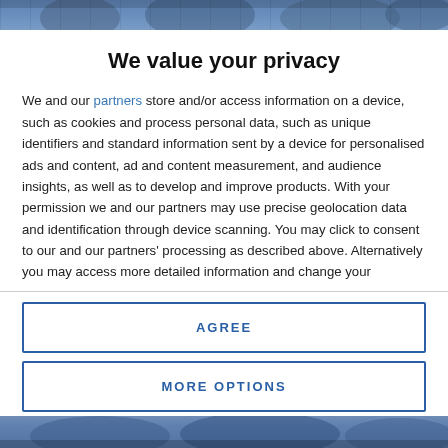[Figure (photo): Blurred background photo of people at the top of the page]
We value your privacy
We and our partners store and/or access information on a device, such as cookies and process personal data, such as unique identifiers and standard information sent by a device for personalised ads and content, ad and content measurement, and audience insights, as well as to develop and improve products. With your permission we and our partners may use precise geolocation data and identification through device scanning. You may click to consent to our and our partners' processing as described above. Alternatively you may access more detailed information and change your preferences before consenting or to refuse consenting. Please note that some processing of your personal data may not require your consent, but you have a right to
AGREE
MORE OPTIONS
[Figure (photo): Blurred background photo at the bottom of the page]